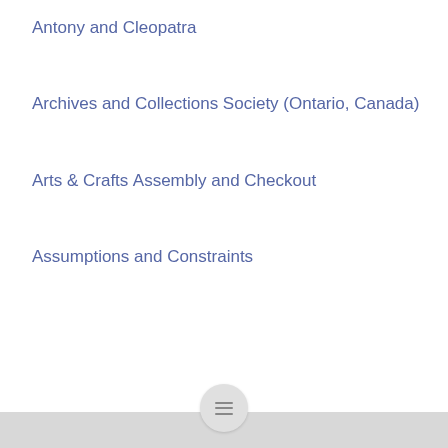Antony and Cleopatra
Archives and Collections Society (Ontario, Canada)
Arts & Crafts
Assembly and Checkout
Assumptions and Constraints